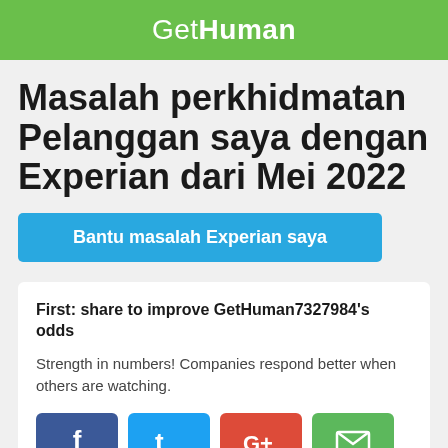GetHuman
Masalah perkhidmatan Pelanggan saya dengan Experian dari Mei 2022
Bantu masalah Experian saya
First: share to improve GetHuman7327984's odds
Strength in numbers! Companies respond better when others are watching.
[Figure (infographic): Social sharing buttons: Facebook (blue), Twitter (teal), Google+ (red), Email (green)]